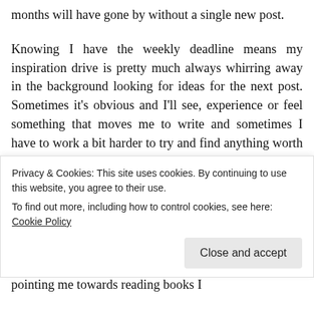months will have gone by without a single new post.
Knowing I have the weekly deadline means my inspiration drive is pretty much always whirring away in the background looking for ideas for the next post. Sometimes it's obvious and I'll see, experience or feel something that moves me to write and sometimes I have to work a bit harder to try and find anything worth expressing. I'm starting to develop a little store of rainy day blogging ideas to
Privacy & Cookies: This site uses cookies. By continuing to use this website, you agree to their use.
To find out more, including how to control cookies, see here: Cookie Policy
pointing me towards reading books I